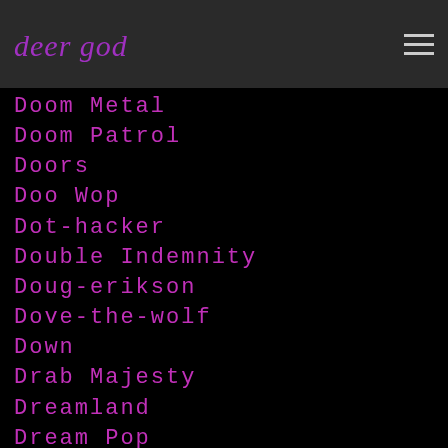deer god
Doom Metal
Doom Patrol
Doors
Doo Wop
Dot-hacker
Double Indemnity
Doug-erikson
Dove-the-wolf
Down
Drab Majesty
Dreamland
Dream Pop
Dreamtheater
Dream Wife
Dresden Dolls
Drifters
Drone Metal